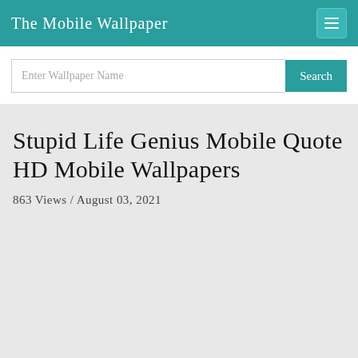The Mobile Wallpaper
Enter Wallpaper Name
Stupid Life Genius Mobile Quote HD Mobile Wallpapers
863 Views / August 03, 2021